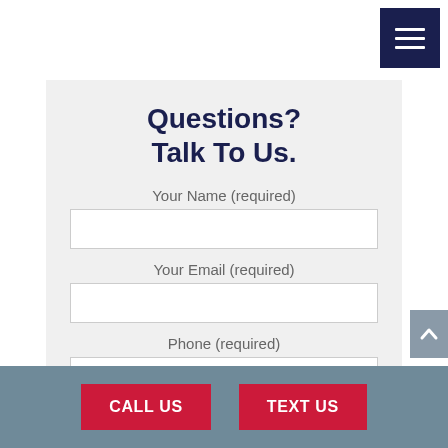[Figure (other): Hamburger menu icon button with dark navy background and three white horizontal lines]
Questions?
Talk To Us.
Your Name (required)
Your Email (required)
Phone (required)
[Figure (other): Scroll-to-top button with upward chevron on gray background]
CALL US
TEXT US